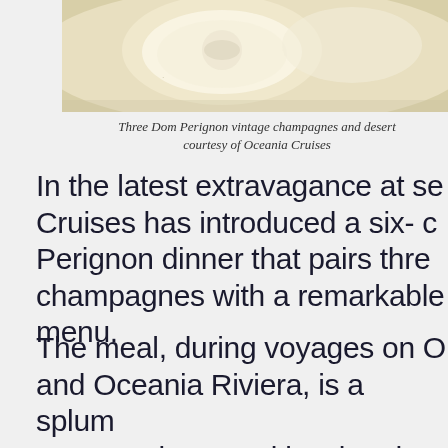[Figure (photo): Close-up photo of food items, likely champagne desserts or appetizers on a plate with cream-colored background]
Three Dom Perignon vintage champagnes and desert courtesy of Oceania Cruises
In the latest extravagance at se Cruises has introduced a six- c Perignon dinner that pairs thre champagnes with a remarkable menu.
The meal, during voyages on O and Oceania Riviera, is a splum person, plus gratuities, but the by the decadence of the menu opportunity to drink amazing c